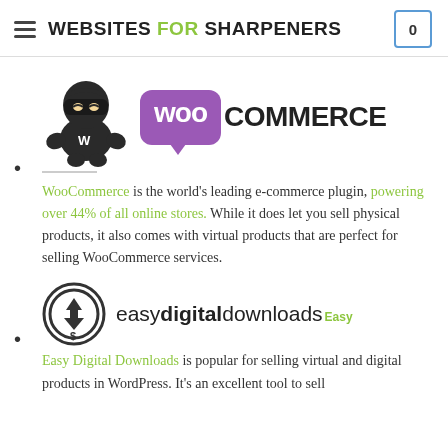WEBSITES FOR SHARPENERS
[Figure (logo): Ninja mascot character and WooCommerce logo (purple speech bubble with 'woo' in white, 'COMMERCE' in dark text)]
WooCommerce is the world's leading e-commerce plugin, powering over 44% of all online stores. While it does let you sell physical products, it also comes with virtual products that are perfect for selling WooCommerce services.
[Figure (logo): Easy Digital Downloads logo — circular icon with down arrow and dollar sign, followed by 'easydigitaldownloads Easy' text]
Easy Digital Downloads is popular for selling virtual and digital products in WordPress. It's an excellent tool to sell...